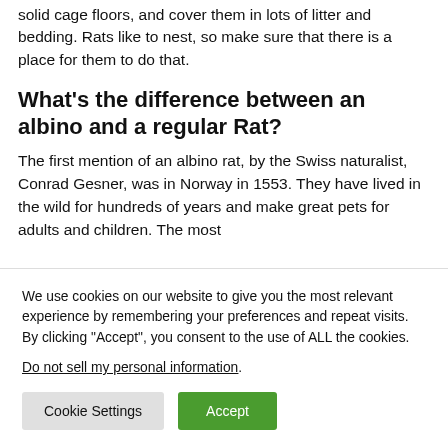solid cage floors, and cover them in lots of litter and bedding. Rats like to nest, so make sure that there is a place for them to do that.
What's the difference between an albino and a regular Rat?
The first mention of an albino rat, by the Swiss naturalist, Conrad Gesner, was in Norway in 1553. They have lived in the wild for hundreds of years and make great pets for adults and children. The most
We use cookies on our website to give you the most relevant experience by remembering your preferences and repeat visits. By clicking “Accept”, you consent to the use of ALL the cookies.
Do not sell my personal information.
Cookie Settings  Accept